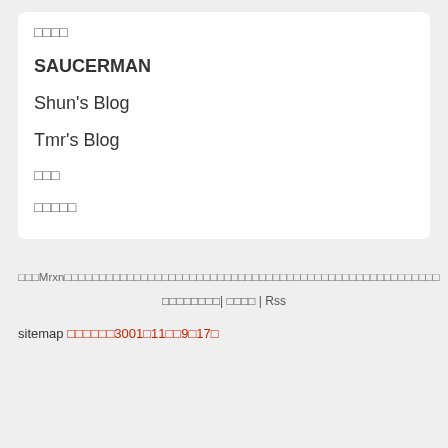□□□□
SAUCERMAN
Shun's Blog
Tmr's Blog
□□□
□□□□□
□□□Mrxn□□□□□□□□□□□□□□□□□□□□□□□□□□□□□□□□□□□□□□□□□□□□□□□□□□□□□□
□□□□□□□□| □□□□ | Rss
sitemap □□□□□□3001□11□□9□17□